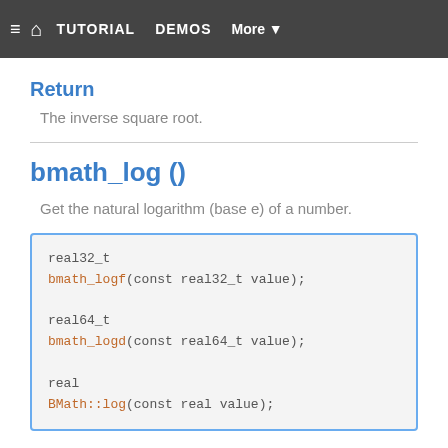≡  🏠  TUTORIAL  DEMOS  More ▼
value   The number.
Return
The inverse square root.
bmath_log ()
Get the natural logarithm (base e) of a number.
real32_t
bmath_logf(const real32_t value);

real64_t
bmath_logd(const real64_t value);

real
BMath::log(const real value);